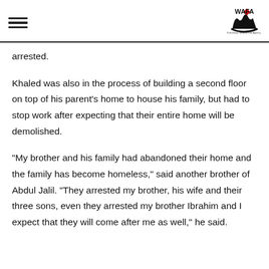WAFA logo and navigation
arrested.
Khaled was also in the process of building a second floor on top of his parent’s home to house his family, but had to stop work after expecting that their entire home will be demolished.
“My brother and his family had abandoned their home and the family has become homeless,” said another brother of Abdul Jalil. “They arrested my brother, his wife and their three sons, even they arrested my brother Ibrahim and I expect that they will come after me as well,” he said.